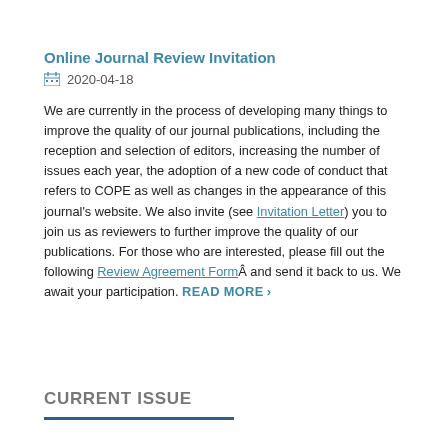Online Journal Review Invitation
2020-04-18
We are currently in the process of developing many things to improve the quality of our journal publications, including the reception and selection of editors, increasing the number of issues each year, the adoption of a new code of conduct that refers to COPE as well as changes in the appearance of this journal's website. We also invite (see Invitation Letter) you to join us as reviewers to further improve the quality of our publications. For those who are interested, please fill out the following Review Agreement FormÂ and send it back to us. We await your participation. READ MORE
CURRENT ISSUE